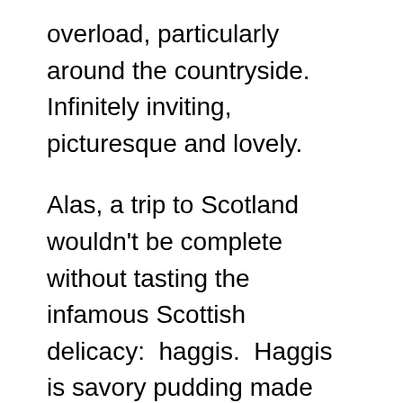overload, particularly around the countryside. Infinitely inviting, picturesque and lovely.
Alas, a trip to Scotland wouldn't be complete without tasting the infamous Scottish delicacy: haggis. Haggis is savory pudding made from sheep parts, minced with onion, oatmeal, suet, and spices traditionally encased in the animal's stomach lining. Sounds enticing, eh? After all was said and done, I wouldn't have known if I ate stomach lining or not…it was all mixed together and dipped in a sauce. Quite tasty in my opinion! Paired with a pint of brew, you are all set. Fish & Chips and Scottish breakfast were also among the local culinary